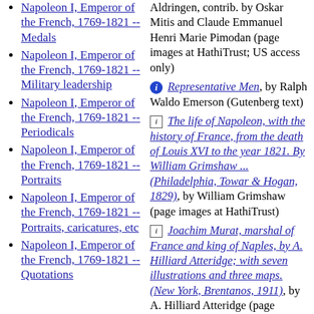Napoleon I, Emperor of the French, 1769-1821 -- Medals
Napoleon I, Emperor of the French, 1769-1821 -- Military leadership
Napoleon I, Emperor of the French, 1769-1821 -- Periodicals
Napoleon I, Emperor of the French, 1769-1821 -- Portraits
Napoleon I, Emperor of the French, 1769-1821 -- Portraits, caricatures, etc
Napoleon I, Emperor of the French, 1769-1821 -- Quotations
Aldringen, contrib. by Oskar Mitis and Claude Emmanuel Henri Marie Pimodan (page images at HathiTrust; US access only)
Representative Men, by Ralph Waldo Emerson (Gutenberg text)
The life of Napoleon, with the history of France, from the death of Louis XVI to the year 1821. By William Grimshaw ... (Philadelphia, Towar & Hogan, 1829), by William Grimshaw (page images at HathiTrust)
Joachim Murat, marshal of France and king of Naples, by A. Hilliard Atteridge; with seven illustrations and three maps. (New York, Brentanos, 1911), by A. Hilliard Atteridge (page images at HathiTrust)
The dream of Bonaparte : a Napoleonic study / by William Poland. (St. Louis : B. Herder